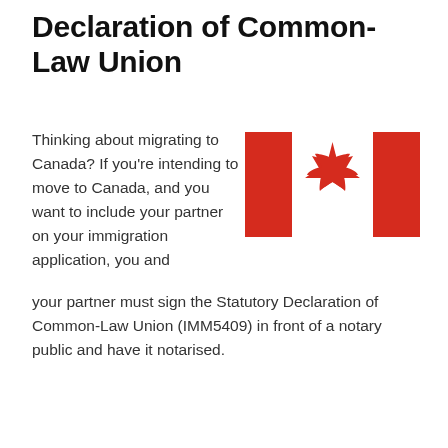Declaration of Common-Law Union
Thinking about migrating to Canada? If you're intending to move to Canada, and you want to include your partner on your immigration application, you and your partner must sign the Statutory Declaration of Common-Law Union (IMM5409) in front of a notary public and have it notarised.
[Figure (illustration): Canadian flag — red rectangle on left, white center with red maple leaf, red rectangle on right]